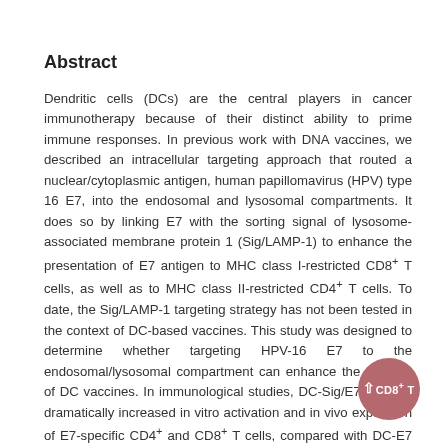Abstract
Dendritic cells (DCs) are the central players in cancer immunotherapy because of their distinct ability to prime immune responses. In previous work with DNA vaccines, we described an intracellular targeting approach that routed a nuclear/cytoplasmic antigen, human papillomavirus (HPV) type 16 E7, into the endosomal and lysosomal compartments. It does so by linking E7 with the sorting signal of lysosome-associated membrane protein 1 (Sig/LAMP-1) to enhance the presentation of E7 antigen to MHC class I-restricted CD8+ T cells, as well as to MHC class II-restricted CD4+ T cells. To date, the Sig/LAMP-1 targeting strategy has not been tested in the context of DC-based vaccines. This study was designed to determine whether targeting HPV-16 E7 to the endosomal/lysosomal compartment can enhance the potency of DC vaccines. In immunological studies, DC-Sig/E7/LAMP-1 dramatically increased in vitro activation and in vivo expansion of E7-specific CD4+ and CD8+ T cells, compared with DC-E7 and DC-No insert. More importantly, in both tumor prevention and tumor treatment